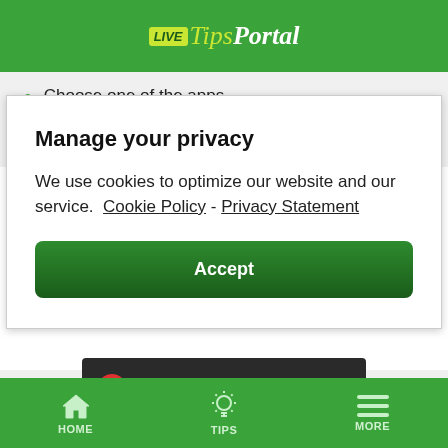[Figure (logo): LiveTipsPortal logo on green header background]
Choose one of the apps
On your Android device, download the apk file
Manage your privacy
We use cookies to optimize our website and our service.  Cookie Policy -  Privacy Statement
Accept
[Figure (screenshot): Dark banner with red circle icon and Continue as Guest arrow link]
HOME   TIPS   MORE